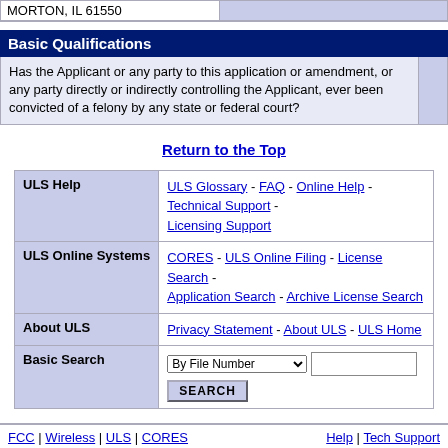MORTON, IL 61550
Basic Qualifications
Has the Applicant or any party to this application or amendment, or any party directly or indirectly controlling the Applicant, ever been convicted of a felony by any state or federal court?
Return to the Top
|  |  |
| --- | --- |
| ULS Help | ULS Glossary - FAQ - Online Help - Technical Support - Licensing Support |
| ULS Online Systems | CORES - ULS Online Filing - License Search - Application Search - Archive License Search |
| About ULS | Privacy Statement - About ULS - ULS Home |
| Basic Search | By File Number [dropdown] [search input] SEARCH |
FCC | Wireless | ULS | CORES    Help | Tech Support
Federal Communications Commission
45 L Street NE
Washington, DC 20554
Phone: 1-877-480-3201
TTY: 1-717-338-2824
Submit Help Request